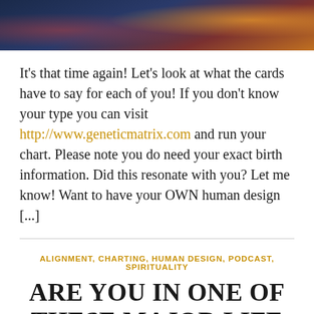[Figure (photo): Partial view of colorful tarot or playing cards with dark blue, red, and gold tones]
It's that time again! Let's look at what the cards have to say for each of you! If you don't know your type you can visit http://www.geneticmatrix.com and run your chart. Please note you do need your exact birth information. Did this resonate with you? Let me know! Want to have your OWN human design [...]
ALIGNMENT, CHARTING, HUMAN DESIGN, PODCAST, SPIRITUALITY
ARE YOU IN ONE OF THESE MAJOR LIFE CYCLES?!